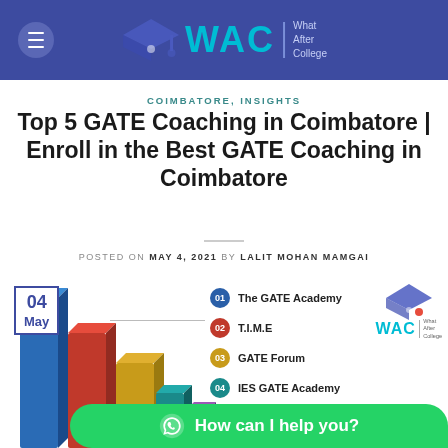WAC | What After College
COIMBATORE, INSIGHTS
Top 5 GATE Coaching in Coimbatore | Enroll in the Best GATE Coaching in Coimbatore
POSTED ON MAY 4, 2021 BY LALIT MOHAN MAMGAI
[Figure (infographic): Bar chart with 4+ colored 3D-style bars representing top GATE coaching institutes in Coimbatore. Date stamp '04 May' in top-left corner. List of institutes: 01 The GATE Academy, 02 T.I.M.E, 03 GATE Forum, 04 IES GATE Academy. WAC logo in top-right. WhatsApp chat widget 'How can I help you?' at bottom.]